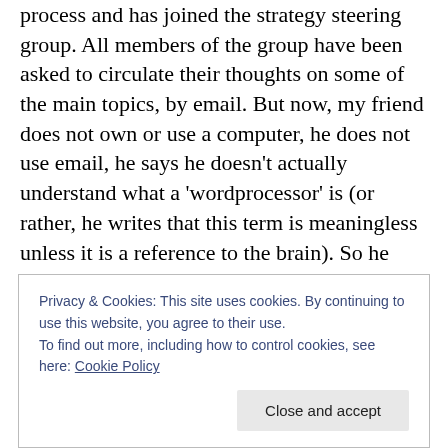process and has joined the strategy steering group. All members of the group have been asked to circulate their thoughts on some of the main topics, by email. But now, my friend does not own or use a computer, he does not use email, he says he doesn't actually understand what a 'wordprocessor' is (or rather, he writes that this term is meaningless unless it is a reference to the brain). So he used his old Olivetti typewriter to write out his ideas, admittedly also adding handwritten comments in the margin. He then gave the 10 pages so filled to the secretary of the group. Who gave them right back to him
Privacy & Cookies: This site uses cookies. By continuing to use this website, you agree to their use.
To find out more, including how to control cookies, see here: Cookie Policy